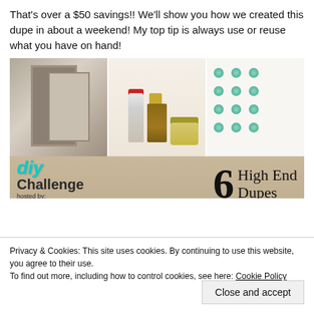That's over a $50 savings!! We'll show you how we created this dupe in about a weekend! My top tip is always use or reuse what you have on hand!
[Figure (photo): Collage of three photos showing DIY project supplies: left panel shows framed gallery wall, middle panel shows Titebond glue bottle, Jenga blocks, and a metallic gold jar, right panel shows teal/mint pompoms arranged in a grid on white background. Below the photos is a tan/beige banner reading 'diy Challenge hosted by: Decorate and More with Tip' with '6 High End Dupes' in script.]
Privacy & Cookies: This site uses cookies. By continuing to use this website, you agree to their use.
To find out more, including how to control cookies, see here: Cookie Policy
Close and accept